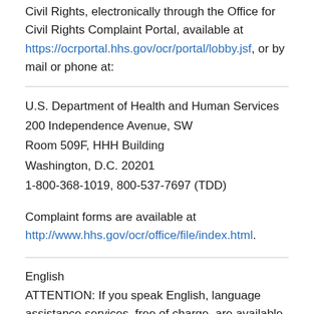Department of Health and Human Services, Office for Civil Rights, electronically through the Office for Civil Rights Complaint Portal, available at https://ocrportal.hhs.gov/ocr/portal/lobby.jsf, or by mail or phone at:
U.S. Department of Health and Human Services
200 Independence Avenue, SW
Room 509F, HHH Building
Washington, D.C. 20201
1-800-368-1019, 800-537-7697 (TDD)

Complaint forms are available at http://www.hhs.gov/ocr/office/file/index.html.
English
ATTENTION: If you speak English, language assistance services, free of charge, are available to you. Call 1-888-